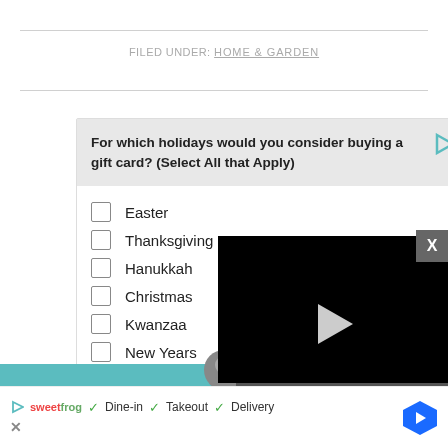FILED UNDER: HOME & GARDEN
[Figure (screenshot): Survey widget asking 'For which holidays would you consider buying a gift card? (Select All that Apply)' with checkboxes for Easter, Thanksgiving, Hanukkah, Christmas, Kwanzaa, New Years, and a Zeta logo at the bottom]
[Figure (screenshot): Video player overlay on dark background showing a play button, progress bar at 13:52, and control icons including mute, CC, grid, settings, and fullscreen]
[Figure (screenshot): Bottom advertisement bar from SweetFrog showing Dine-in, Takeout, Delivery checkmarks with a blue diamond arrow icon and a close X button]